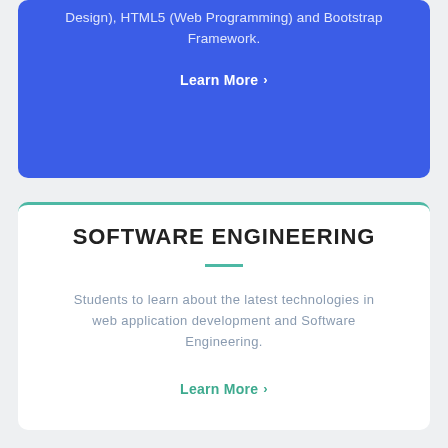Design), HTML5 (Web Programming) and Bootstrap Framework.
Learn More ›
SOFTWARE ENGINEERING
Students to learn about the latest technologies in web application development and Software Engineering.
Learn More ›